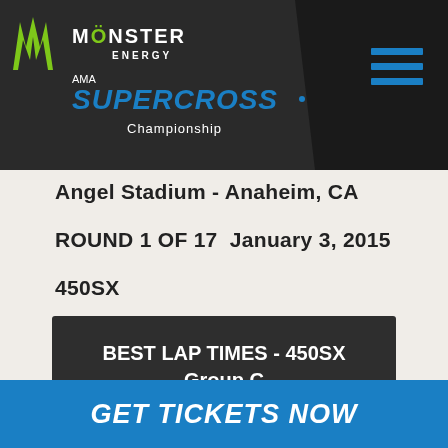[Figure (logo): Monster Energy AMA Supercross Championship logo on dark header bar with hamburger menu icon]
Angel Stadium - Anaheim, CA
ROUND 1 OF 17  January 3, 2015
450SX
BEST LAP TIMES - 450SX Group C Qualifying Practice 1
GET TICKETS NOW